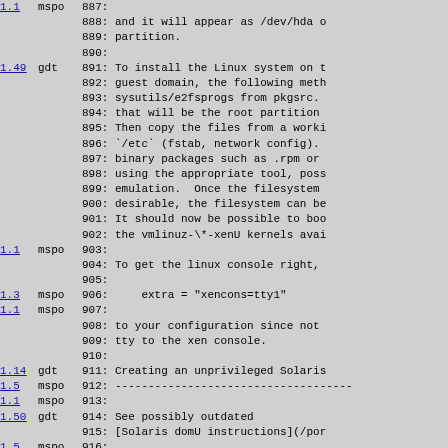| version | user | line_content |
| --- | --- | --- |
| 1.1 | mspo | 887: |
|  |  | 888: and it will appear as /dev/hda o |
|  |  | 889: partition. |
|  |  | 890: |
| 1.49 | gdt | 891: To install the Linux system on t |
|  |  | 892: guest domain, the following meth |
|  |  | 893: sysutils/e2fsprogs from pkgsrc. |
|  |  | 894: that will be the root partition |
|  |  | 895: Then copy the files from a worki |
|  |  | 896: `/etc` (fstab, network config). |
|  |  | 897: binary packages such as .rpm or |
|  |  | 898: using the appropriate tool, poss |
|  |  | 899: emulation.  Once the filesystem |
|  |  | 900: desirable, the filesystem can be |
|  |  | 901: It should now be possible to boo |
|  |  | 902: the vmlinuz-\*-xenU kernels avai |
| 1.1 | mspo | 903: |
|  |  | 904: To get the linux console right, |
|  |  | 905: |
| 1.3 | mspo | 906:     extra = "xencons=tty1" |
| 1.1 | mspo | 907: |
|  |  | 908: to your configuration since not |
|  |  | 909: tty to the xen console. |
|  |  | 910: |
| 1.14 | gdt | 911: Creating an unprivileged Solaris |
| 1.5 | mspo | 912: ------------------------------------ |
| 1.1 | mspo | 913: |
| 1.50 | gdt | 914: See possibly outdated |
|  |  | 915: [Solaris domU instructions](/por |
| 1.5 | mspo | 916: |